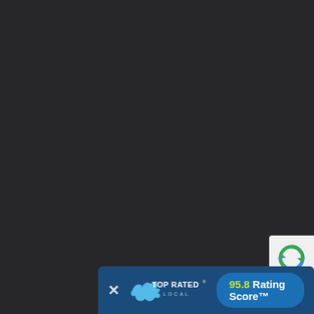[Figure (screenshot): Dark background webpage screenshot with a 'Top Rated Local' badge bar at the bottom showing '95.8 Rating Score™' and a partial reCAPTCHA widget in the bottom-right corner.]